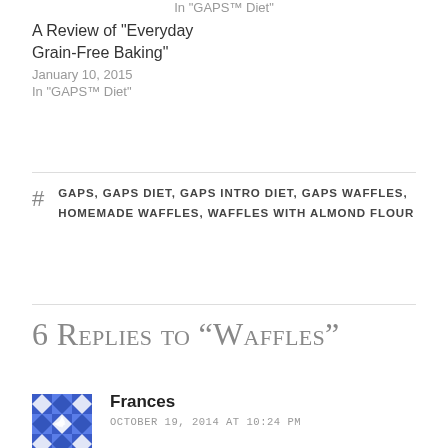In “GAPS™ Diet”
A Review of “Everyday Grain-Free Baking”
January 10, 2015
In "GAPS™ Diet"
GAPS, GAPS DIET, GAPS INTRO DIET, GAPS WAFFLES, HOMEMADE WAFFLES, WAFFLES WITH ALMOND FLOUR
6 Replies to “Waffles”
Frances
OCTOBER 19, 2014 AT 10:24 PM